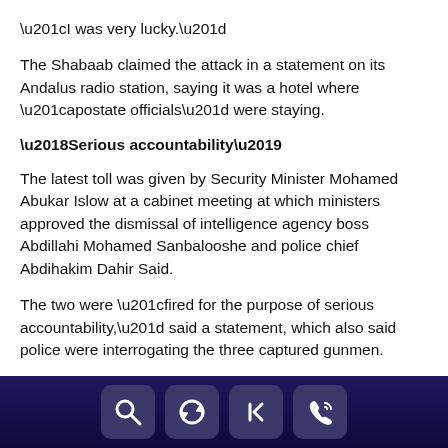“I was very lucky.”
The Shabaab claimed the attack in a statement on its Andalus radio station, saying it was a hotel where “apostate officials” were staying.
‘Serious accountability’
The latest toll was given by Security Minister Mohamed Abukar Islow at a cabinet meeting at which ministers approved the dismissal of intelligence agency boss Abdillahi Mohamed Sanbalooshe and police chief Abdihakim Dahir Said.
The two were “fired for the purpose of serious accountability,” said a statement, which also said police were interrogating the three captured gunmen.
The removal of the officials comes soon after the abrupt resignation of Somalia’s defence minister and army chief on October 12, both of whom quit without explanation just two days before the massive truck bombing.
Although a new army chief was named the same day, General Abdi
[navigation icons: search, refresh, back, phone]